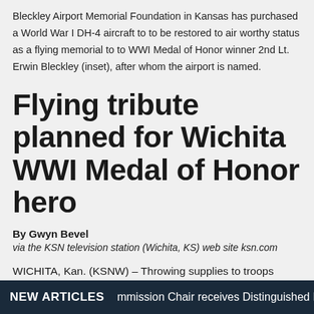Bleckley Airport Memorial Foundation in Kansas has purchased a World War I DH-4 aircraft to to be restored to air worthy status as a flying memorial to to WWI Medal of Honor winner 2nd Lt. Erwin Bleckley (inset), after whom the airport is named.
Flying tribute planned for Wichita WWI Medal of Honor hero
By Gwyn Bevel
via the KSN television station (Wichita, KS) web site ksn.com
WICHITA, Kan. (KSNW) – Throwing supplies to troops below while traveling 125 miles per hour in an open-air biplane, that was the mission in WWI.
NEW ARTICLES   mmission Chair receives Distinguished Public S